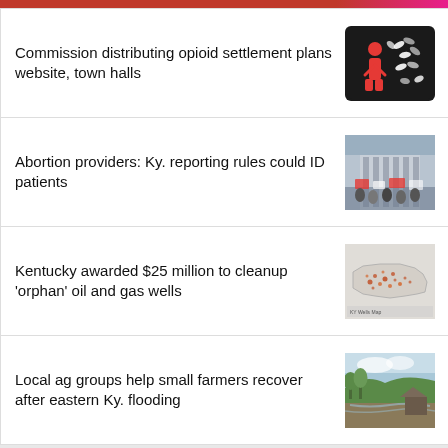Commission distributing opioid settlement plans website, town halls
[Figure (illustration): Black icon with red human figure and pills/capsules]
Abortion providers: Ky. reporting rules could ID patients
[Figure (photo): Protesters outside a building holding signs]
Kentucky awarded $25 million to cleanup 'orphan' oil and gas wells
[Figure (map): Map of Kentucky showing oil and gas well locations with orange dots]
Local ag groups help small farmers recover after eastern Ky. flooding
[Figure (photo): Flooded rural landscape with damaged land and greenery]
Become a Sponsor
[Figure (logo): Ohio Valley logo - green circle with dark lines on black background with white text OHIO VALLEY]